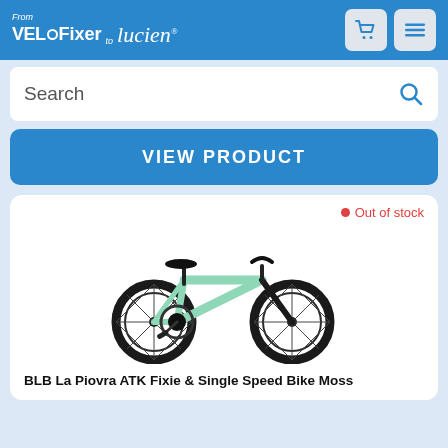From VELOFixer to lucien
Search
VIEW PRODUCT
Out of stock
[Figure (photo): A mint green BLB La Piovra ATK Fixie & Single Speed Bike with black wheels and black handlebars on a white background.]
BLB La Piovra ATK Fixie & Single Speed Bike Moss